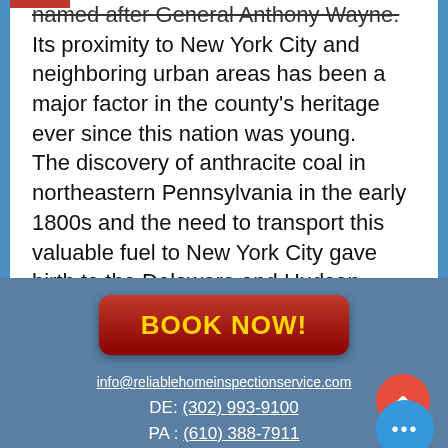named after General Anthony Wayne. Its proximity to New York City and neighboring urban areas has been a major factor in the county's heritage ever since this nation was young. The discovery of anthracite coal in northeastern Pennsylvania in the early 1800s and the need to transport this valuable fuel to New York City gave birth to the Delaware and Hudson Canal, the American Railroad and the Borough of Honesdale, the County seat of Wayne County.
BOOK NOW!
info@reliablehomeinspectionservice.com
DE: (302) 993-9100
PA : (610) 388-7911
MD: (410) 392-2200